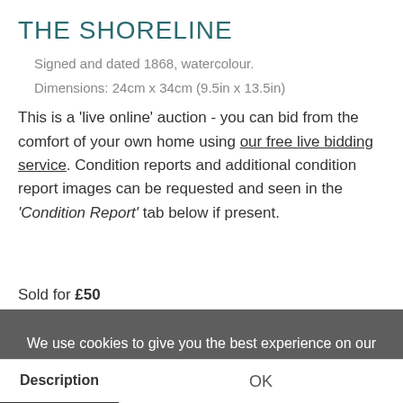THE SHORELINE
Signed and dated 1868, watercolour.
Dimensions: 24cm x 34cm (9.5in x 13.5in)
This is a 'live online' auction - you can bid from the comfort of your own home using our free live bidding service. Condition reports and additional condition report images can be requested and seen in the 'Condition Report' tab below if present.
Sold for £50
We use cookies to give you the best experience on our website. If you continue without changing your settings, we'll assume that you are happy with that. You can find out more about cookies by clicking this link
Share this
Description
OK